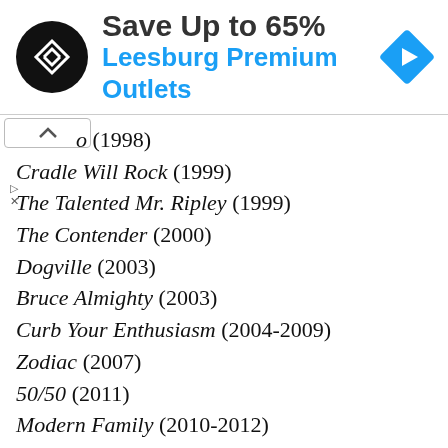[Figure (infographic): Advertisement banner: circular black logo with arrow icon, text 'Save Up to 65%' in dark gray bold, 'Leesburg Premium Outlets' in blue bold, and a blue diamond navigation arrow on the right.]
o (1998)
Cradle Will Rock (1999)
The Talented Mr. Ripley (1999)
The Contender (2000)
Dogville (2003)
Bruce Almighty (2003)
Curb Your Enthusiasm (2004-2009)
Zodiac (2007)
50/50 (2011)
Modern Family (2010-2012)
Previous installments of In Character include:
John Cazale
Patricia Clarkson
Cliff Curtis
Jeff Daniels
Viola Davis